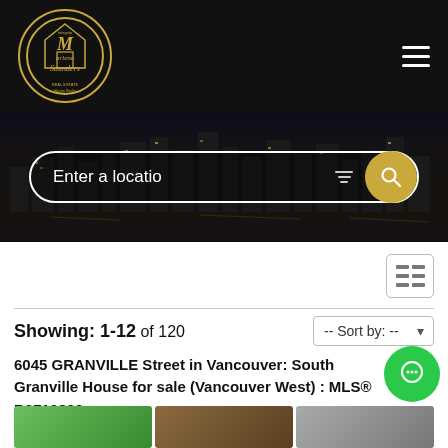[Figure (logo): Marlene Saunders Real Estate circular gold logo on black background]
[Figure (screenshot): City skyline at night reflected in water, dark background]
Enter a locatio
Showing: 1-12 of 120
-- Sort by: --
6045 GRANVILLE Street in Vancouver: South Granville House for sale (Vancouver West) : MLS® R2710830
[Figure (photo): Partial listing property photos strip at bottom of page]